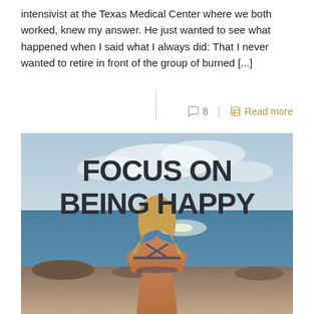intensivist at the Texas Medical Center where we both worked, knew my answer. He just wanted to see what happened when I said what I always did: That I never wanted to retire in front of the group of burned [...]
8   Read more
[Figure (photo): A woman with long blonde hair seen from behind, sitting in a meditation pose on a rocky beach overlooking the ocean. Bold text overlay reads 'FOCUS ON BEING HAPPY'.]